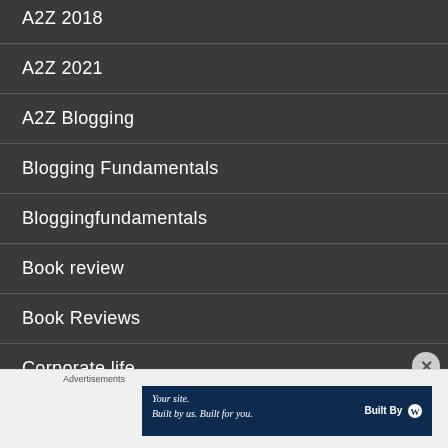A2Z 2018
A2Z 2021
A2Z Blogging
Blogging Fundamentals
Bloggingfundamentals
Book review
Book Reviews
Corporate life
Advertisements
[Figure (other): WordPress advertisement banner: 'Your site. Built by us. Built for you.' with Built By WordPress logo]